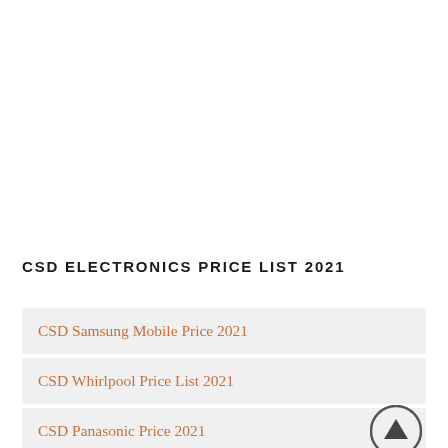CSD ELECTRONICS PRICE LIST 2021
CSD Samsung Mobile Price 2021
CSD Whirlpool Price List 2021
CSD Panasonic Price 2021
CSD IFB Price List 2021